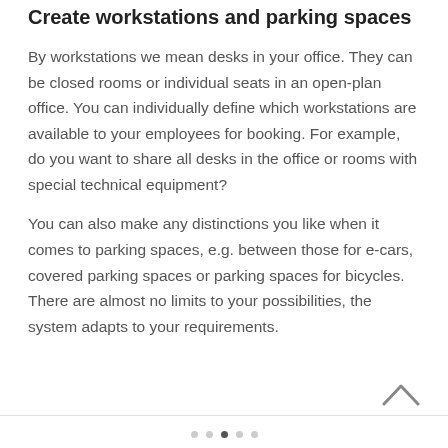Create workstations and parking spaces
By workstations we mean desks in your office. They can be closed rooms or individual seats in an open-plan office. You can individually define which workstations are available to your employees for booking. For example, do you want to share all desks in the office or rooms with special technical equipment?
You can also make any distinctions you like when it comes to parking spaces, e.g. between those for e-cars, covered parking spaces or parking spaces for bicycles. There are almost no limits to your possibilities, the system adapts to your requirements.